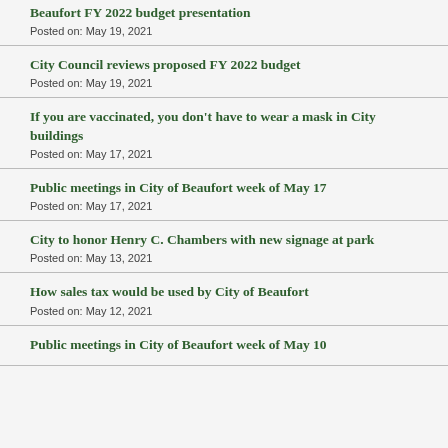Beaufort FY 2022 budget presentation
Posted on: May 19, 2021
City Council reviews proposed FY 2022 budget
Posted on: May 19, 2021
If you are vaccinated, you don't have to wear a mask in City buildings
Posted on: May 17, 2021
Public meetings in City of Beaufort week of May 17
Posted on: May 17, 2021
City to honor Henry C. Chambers with new signage at park
Posted on: May 13, 2021
How sales tax would be used by City of Beaufort
Posted on: May 12, 2021
Public meetings in City of Beaufort week of May 10